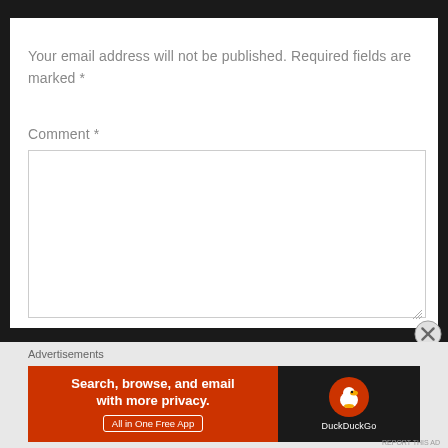Your email address will not be published. Required fields are marked *
Comment *
Advertisements
[Figure (screenshot): DuckDuckGo advertisement banner: orange left section with text 'Search, browse, and email with more privacy. All in One Free App' and dark right section with DuckDuckGo duck logo and brand name]